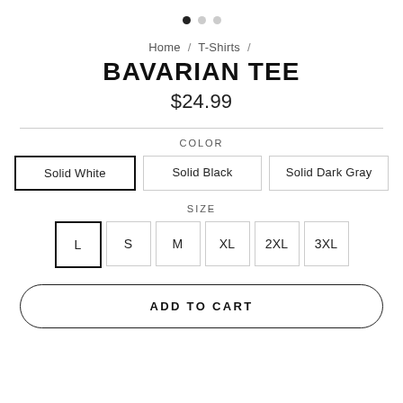[Figure (other): Three pagination dots at the top, first dot filled black, two dots light gray]
Home / T-Shirts /
BAVARIAN TEE
$24.99
COLOR
Solid White  Solid Black  Solid Dark Gray
SIZE
L  S  M  XL  2XL  3XL
ADD TO CART